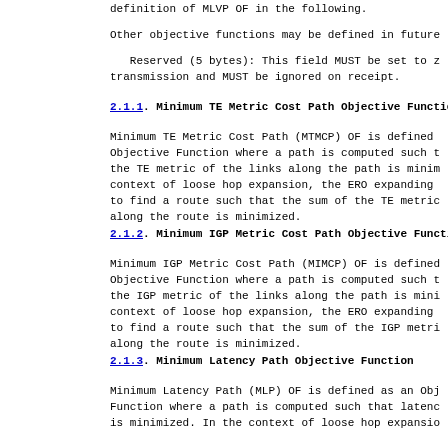definition of MLVP OF in the following.
Other objective functions may be defined in future
Reserved (5 bytes): This field MUST be set to z
transmission and MUST be ignored on receipt.
2.1.1. Minimum TE Metric Cost Path Objective Function
Minimum TE Metric Cost Path (MTMCP) OF is defined
Objective Function where a path is computed such t
the TE metric of the links along the path is minim
context of loose hop expansion, the ERO expanding
to find a route such that the sum of the TE metric
along the route is minimized.
2.1.2. Minimum IGP Metric Cost Path Objective Function
Minimum IGP Metric Cost Path (MIMCP) OF is defined
Objective Function where a path is computed such t
the IGP metric of the links along the path is mini
context of loose hop expansion, the ERO expanding
to find a route such that the sum of the IGP metri
along the route is minimized.
2.1.3. Minimum Latency Path Objective Function
Minimum Latency Path (MLP) OF is defined as an Obj
Function where a path is computed such that latenc
is minimized. In the context of loose hop expansio